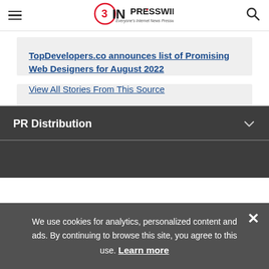EINPresswire — Everyone's Internet News Presswire
TopDevelopers.co announces list of Promising Web Designers for August 2022
View All Stories From This Source
PR Distribution
We use cookies for analytics, personalized content and ads. By continuing to browse this site, you agree to this use. Learn more